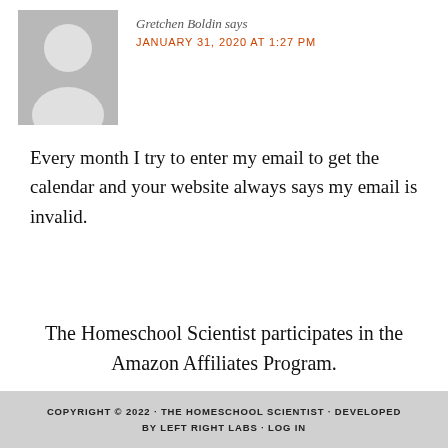Gretchen Boldin says
JANUARY 31, 2020 AT 1:27 PM
[Figure (illustration): Gray avatar placeholder image showing a generic person silhouette on a gray background]
Every month I try to enter my email to get the calendar and your website always says my email is invalid.
The Homeschool Scientist participates in the Amazon Affiliates Program.
COPYRIGHT © 2022 · THE HOMESCHOOL SCIENTIST · DEVELOPED BY LEFT RIGHT LABS · LOG IN